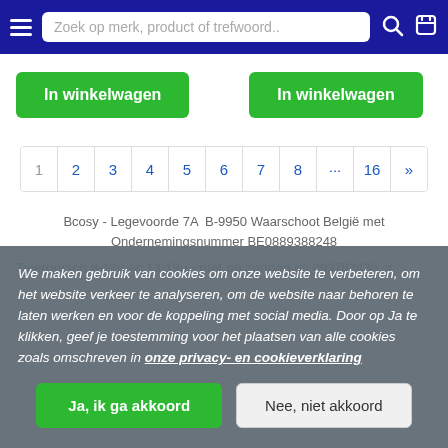Zoek op merk, product of trefwoord..
In winkelwagen | In winkelwagen
1 2 3 4 5 6 7 8 ... 16 »
Bcosy - Legevoorde 7A  B-9950 Waarschoot België met Ondernemingsnummer BE0889388248
Telefonisch 8-12u en 13-19u - niet op zondag op 093782430 or
We maken gebruik van cookies om onze website te verbeteren, om het website verkeer te analyseren, om de website naar behoren te laten werken en voor de koppeling met social media. Door op Ja te klikken, geef je toestemming voor het plaatsen van alle cookies zoals omschreven in onze privacy- en cookieverklaring
Ja, ik ga akkoord | Nee, niet akkoord